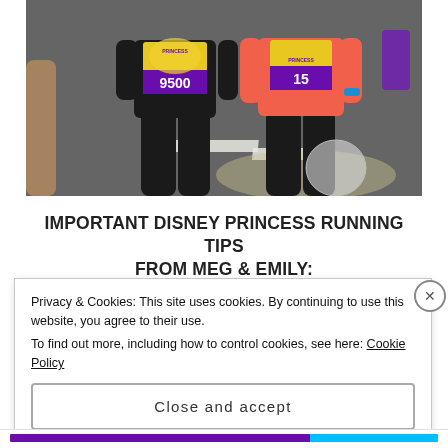[Figure (photo): Two runners wearing race bibs (numbers 9500 and 15) with yellow/purple Disney Princess half marathon bibs, standing on asphalt. One wearing black outfit, one wearing coral/pink top with black shorts. One holding a plastic bag.]
IMPORTANT DISNEY PRINCESS RUNNING TIPS FROM MEG & EMILY:
Privacy & Cookies: This site uses cookies. By continuing to use this website, you agree to their use.
To find out more, including how to control cookies, see here: Cookie Policy
Close and accept